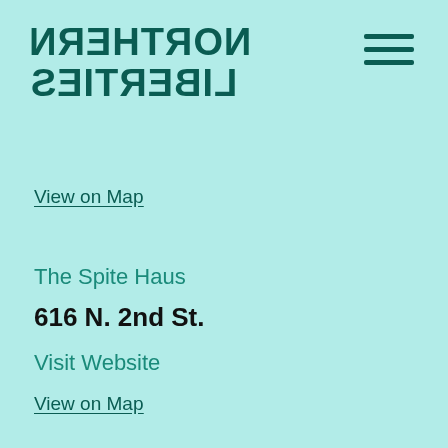NORTHERN LIBERTIES (mirrored logo)
View on Map
The Spite Haus
616 N. 2nd St.
Visit Website
View on Map
The Winston
461 N. 3rd St.
267.319.1586